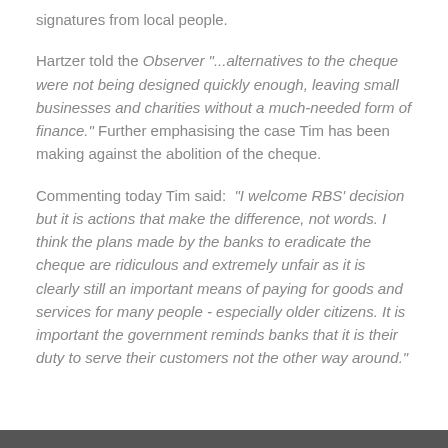signatures from local people.
Hartzer told the Observer "...alternatives to the cheque were not being designed quickly enough, leaving small businesses and charities without a much-needed form of finance." Further emphasising the case Tim has been making against the abolition of the cheque.
Commenting today Tim said: "I welcome RBS' decision but it is actions that make the difference, not words. I think the plans made by the banks to eradicate the cheque are ridiculous and extremely unfair as it is clearly still an important means of paying for goods and services for many people - especially older citizens. It is important the government reminds banks that it is their duty to serve their customers not the other way around."